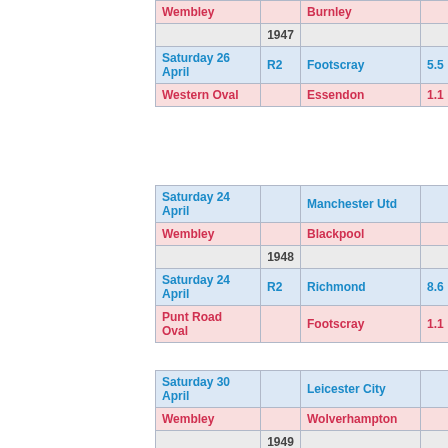| Date | Round | Team | Col4 | Col5 | Col6 |
| --- | --- | --- | --- | --- | --- |
| Wembley |  | Burnley |  | 0 |  |
|  | 1947 |  |  |  |  |
| Saturday 26 April | R2 | Footscray | 5.5 | 6.8 | 12.1 |
| Western Oval |  | Essendon | 1.1 | 5.7 | 10.8 |
| Date | Round | Team | Col4 | Col5 | Col6 |
| --- | --- | --- | --- | --- | --- |
| Saturday 24 April |  | Manchester Utd |  | 1 |  |
| Wembley |  | Blackpool |  | 2 |  |
|  | 1948 |  |  |  |  |
| Saturday 24 April | R2 | Richmond | 8.6 | 12.7 | 18.8 |
| Punt Road Oval |  | Footscray | 1.1 | 6.2 | 6.4 |
| Date | Round | Team | Col4 | Col5 | Col6 |
| --- | --- | --- | --- | --- | --- |
| Saturday 30 April |  | Leicester City |  | 0 |  |
| Wembley |  | Wolverhampton |  | 2 |  |
|  | 1949 |  |  |  |  |
| Saturday 30 April | R3 | Melbourne | 1.8 | 5.10 | 10.1 |